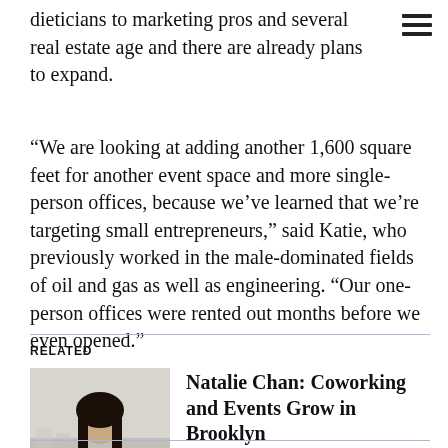dieticians to marketing pros and several real estate age and there are already plans to expand.
“We are looking at adding another 1,600 square feet for another event space and more single-person offices, because we’ve learned that we’re targeting small entrepreneurs,” said Katie, who previously worked in the male-dominated fields of oil and gas as well as engineering. “Our one-person offices were rented out months before we even opened.”
RELATED
[Figure (photo): Photo of Natalie Chan, a woman with long dark hair wearing a dark jacket, standing indoors.]
Natalie Chan: Coworking and Events Grow in Brooklyn